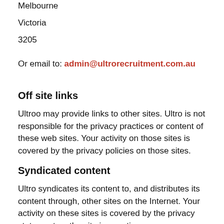Melbourne
Victoria
3205
Or email to: admin@ultrorecruitment.com.au
Off site links
Ultroo may provide links to other sites. Ultro is not responsible for the privacy practices or content of these web sites. Your activity on those sites is covered by the privacy policies on those sites.
Syndicated content
Ultro syndicates its content to, and distributes its content through, other sites on the Internet. Your activity on these sites is covered by the privacy statement on the site in question.